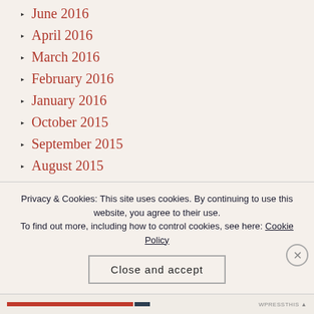June 2016
April 2016
March 2016
February 2016
January 2016
October 2015
September 2015
August 2015
July 2015
June 2015
May 2015
April 2015
Privacy & Cookies: This site uses cookies. By continuing to use this website, you agree to their use.
To find out more, including how to control cookies, see here: Cookie Policy